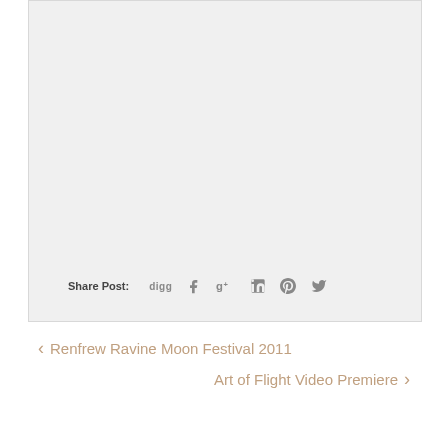[Figure (other): Light gray placeholder box representing an embedded image or video area]
Share Post: digg f g+ in Pinterest Twitter
< Renfrew Ravine Moon Festival 2011
Art of Flight Video Premiere >